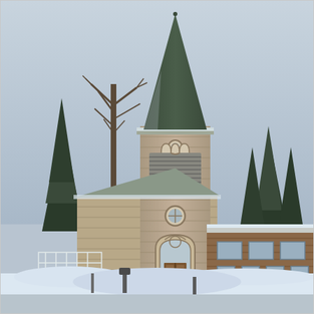[Figure (photo): A stone church with a tall dark spire/steeple photographed in winter. The church features gothic arched windows, a round window above the entrance, and a large wooden door. Snow covers the ground. Bare deciduous trees and evergreen pine trees flank the church. A modern wooden building addition is visible to the right. The sky is overcast and grey.]